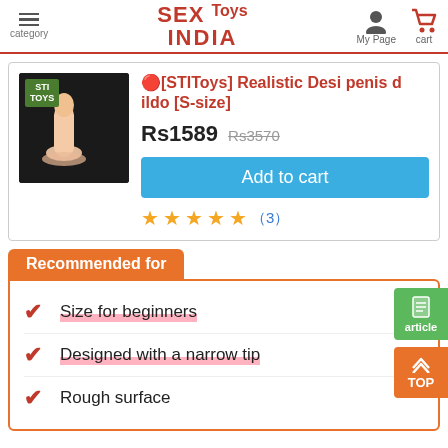category | SEX Toys INDIA | My Page | cart
🔴[STIToys] Realistic Desi penis dildo [S-size]
Rs1589  Rs3570
Add to cart
★★★★½ (3)
Recommended for
Size for beginners
Designed with a narrow tip
Rough surface